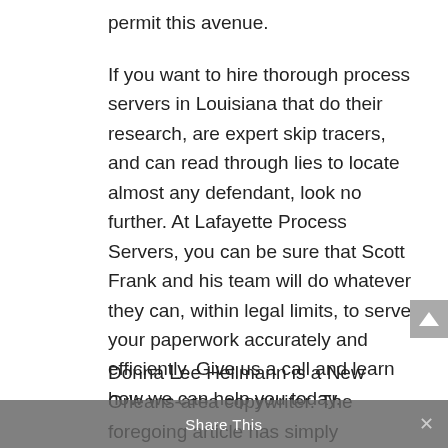permit this avenue.
If you want to hire thorough process servers in Louisiana that do their research, are expert skip tracers, and can read through lies to locate almost any defendant, look no further. At Lafayette Process Servers, you can be sure that Scott Frank and his team will do whatever they can, within legal limits, to serve your paperwork accurately and efficiently. Give us a call and learn how we can help you today.
Donna Lee Hellmann is a New Orleans-area copywriter. The foregoing article has simply
Share This